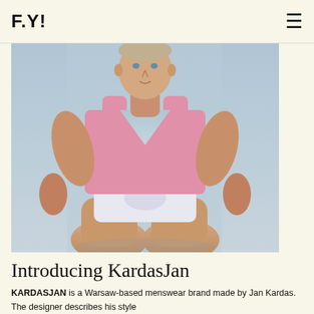F.Y!
[Figure (photo): Fashion editorial photo of a muscular male model wearing a pink sleeveless tank top and white briefs/underwear, crouching forward against a light blue-grey background.]
Introducing KardasJan
KARDASJAN is a Warsaw-based menswear brand made by Jan Kardas. The designer describes his style